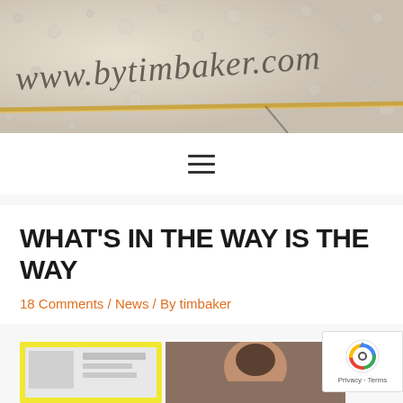[Figure (photo): Website header image showing handwritten text 'www.bytimbaker.com' on a foggy/wet surface with water droplets, with a golden pen or stylus lying across the bottom]
[Figure (other): Hamburger menu icon (three horizontal lines) in the navigation bar]
WHAT'S IN THE WAY IS THE WAY
18 Comments / News / By timbaker
[Figure (photo): Article image showing what appears to be an ID card or license on the left and a person's face/headshot on the right]
[Figure (other): Google reCAPTCHA badge showing the reCAPTCHA logo with 'Privacy - Terms' text]